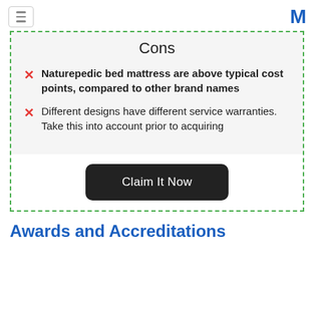Cons
Naturepedic bed mattress are above typical cost points, compared to other brand names
Different designs have different service warranties. Take this into account prior to acquiring
Claim It Now
Awards and Accreditations